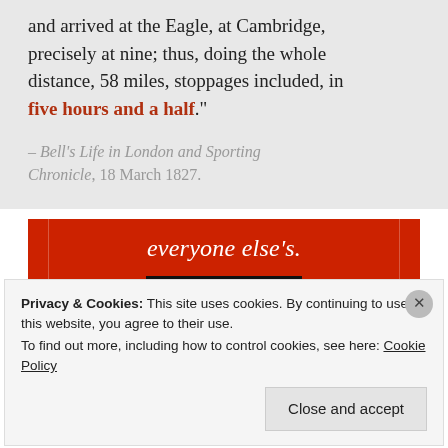and arrived at the Eagle, at Cambridge, precisely at nine; thus, doing the whole distance, 58 miles, stoppages included, in five hours and a half.
– Bell's Life in London and Sporting Chronicle, 18 March 1827.
[Figure (other): Red advertisement banner with white italic text 'everyone else's.' and a black 'Start reading' button]
Privacy & Cookies: This site uses cookies. By continuing to use this website, you agree to their use. To find out more, including how to control cookies, see here: Cookie Policy
Close and accept